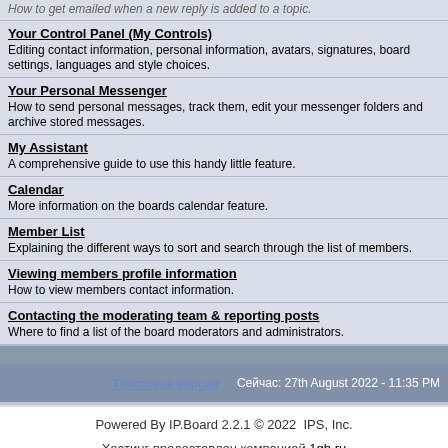How to get emailed when a new reply is added to a topic.
Your Control Panel (My Controls)
Editing contact information, personal information, avatars, signatures, board settings, languages and style choices.
Your Personal Messenger
How to send personal messages, track them, edit your messenger folders and archive stored messages.
My Assistant
A comprehensive guide to use this handy little feature.
Calendar
More information on the boards calendar feature.
Member List
Explaining the different ways to sort and search through the list of members.
Viewing members profile information
How to view members contact information.
Contacting the moderating team & reporting posts
Where to find a list of the board moderators and administrators.
Текстовая версия    Сейчас: 27th August 2022 - 11:35 PM
Powered By IP.Board 2.2.1 © 2022  IPS, Inc.
Хостинг предоставлен компанией 1gb.ru